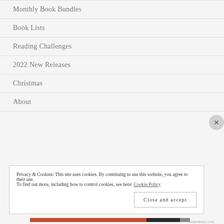Monthly Book Bundles
Book Lists
Reading Challenges
2022 New Releases
Christmas
About
Privacy & Cookies: This site uses cookies. By continuing to use this website, you agree to their use.
To find out more, including how to control cookies, see here: Cookie Policy
Close and accept